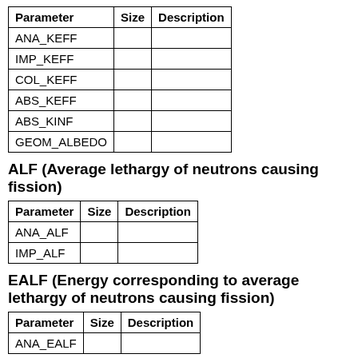| Parameter | Size | Description |
| --- | --- | --- |
| ANA_KEFF |  |  |
| IMP_KEFF |  |  |
| COL_KEFF |  |  |
| ABS_KEFF |  |  |
| ABS_KINF |  |  |
| GEOM_ALBEDO |  |  |
ALF (Average lethargy of neutrons causing fission)
| Parameter | Size | Description |
| --- | --- | --- |
| ANA_ALF |  |  |
| IMP_ALF |  |  |
EALF (Energy corresponding to average lethargy of neutrons causing fission)
| Parameter | Size | Description |
| --- | --- | --- |
| ANA_EALF |  |  |